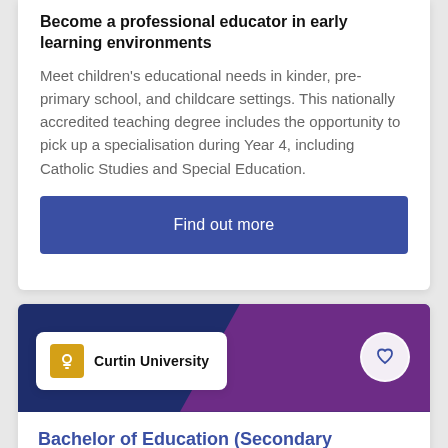Become a professional educator in early learning environments
Meet children’s educational needs in kinder, pre-primary school, and childcare settings. This nationally accredited teaching degree includes the opportunity to pick up a specialisation during Year 4, including Catholic Studies and Special Education.
Find out more
[Figure (logo): Curtin University logo with gold icon and black background text]
Bachelor of Education (Secondary Education) (Humanities and Social Sciences - Geography)